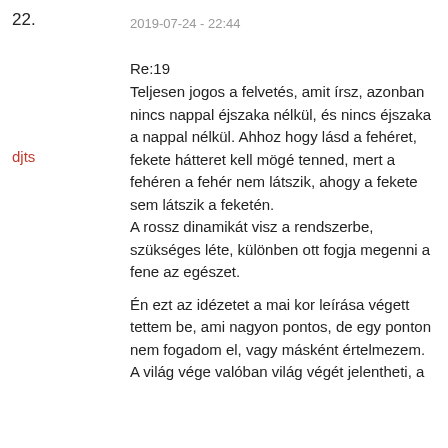22.
2019-07-24 - 22:44
djts
Re:19
Teljesen jogos a felvetés, amit írsz, azonban nincs nappal éjszaka nélkül, és nincs éjszaka a nappal nélkül. Ahhoz hogy lásd a fehéret, fekete hátteret kell mögé tenned, mert a fehéren a fehér nem látszik, ahogy a fekete sem látszik a feketén.
A rossz dinamikát visz a rendszerbe, szükséges léte, különben ott fogja megenni a fene az egészet.
Én ezt az idézetet a mai kor leírása végett tettem be, ami nagyon pontos, de egy ponton nem fogadom el, vagy másként értelmezem.
A világ vége valóban világ végét jelentheti, a